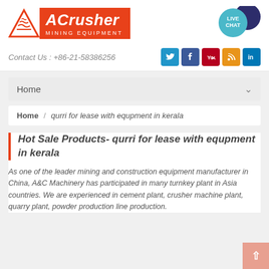[Figure (logo): ACrusher Mining Equipment logo with orange triangle and orange text box]
Contact Us : +86-21-58386256
[Figure (infographic): Social media icons: Twitter, Facebook, YouTube, RSS, LinkedIn]
Home
Home / qurri for lease with equpment in kerala
Hot Sale Products- qurri for lease with equpment in kerala
As one of the leader mining and construction equipment manufacturer in China, A&C Machinery has participated in many turnkey plant in Asia countries. We are experienced in cement plant, crusher machine plant, quarry plant, powder production line production.